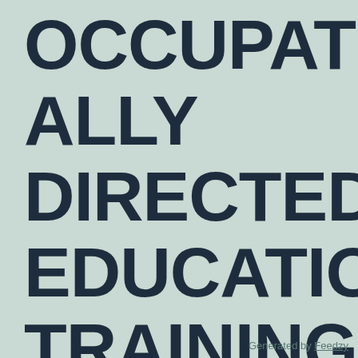OCCUPATIONALLY DIRECTED EDUCATION TRAINING & DEVELOPMENT
Generated by Feedzy